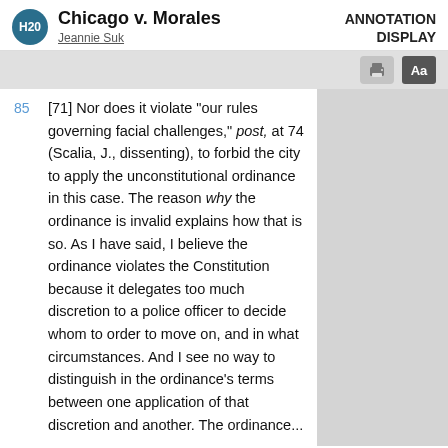Chicago v. Morales — Jeannie Suk — ANNOTATION DISPLAY
[71] Nor does it violate "our rules governing facial challenges," post, at 74 (Scalia, J., dissenting), to forbid the city to apply the unconstitutional ordinance in this case. The reason why the ordinance is invalid explains how that is so. As I have said, I believe the ordinance violates the Constitution because it delegates too much discretion to a police officer to decide whom to order to move on, and in what circumstances. And I see no way to distinguish in the ordinance's terms between one application of that discretion and another. The ordinance...